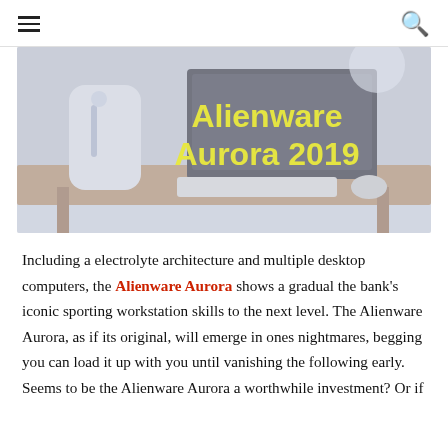☰  🔍
[Figure (photo): Hero image of an Alienware Aurora 2019 desktop PC setup on a desk with a monitor, keyboard and mouse. Bold yellow text reads 'Alienware Aurora 2019' overlaid on the image.]
Including a electrolyte architecture and multiple desktop computers, the Alienware Aurora shows a gradual the bank's iconic sporting workstation skills to the next level. The Alienware Aurora, as if its original, will emerge in ones nightmares, begging you can load it up with you until vanishing the following early. Seems to be the Alienware Aurora a worthwhile investment? Or if